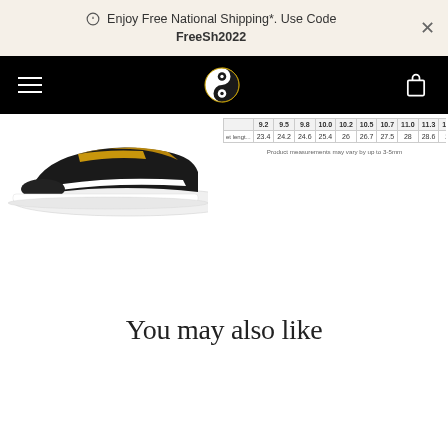Enjoy Free National Shipping*. Use Code FreeSh2022
[Figure (screenshot): Black navigation bar with hamburger menu, yin-yang logo, and cart icon]
[Figure (photo): Partial view of a shoe/sneaker with black, white and gold/brown colors on white sole]
|  | 9.2 | 9.5 | 9.8 | 10.0 | 10.2 | 10.5 | 10.7 | 11.0 | 11.3 | 11.6 |
| --- | --- | --- | --- | --- | --- | --- | --- | --- | --- | --- |
| et lengt... | 23.4 | 24.2 | 24.6 | 25.4 | 26 | 26.7 | 27.5 | 28 | 28.6 | 29 |
Product measurements may vary by up to 3-5mm
You may also like